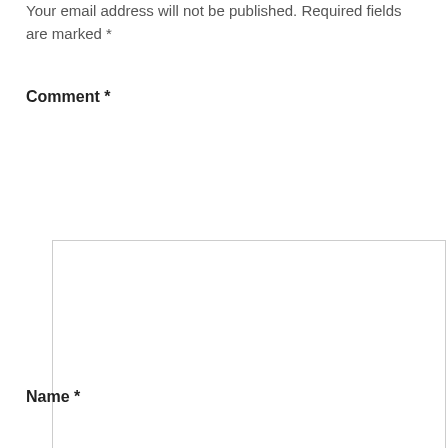Your email address will not be published. Required fields are marked *
Comment *
[Figure (other): Large empty comment textarea input box with resize handle at bottom right]
Name *
[Figure (other): Text input field for Name]